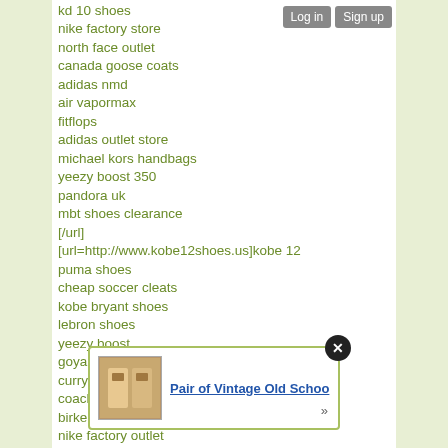Log in  Sign up
kd 10 shoes
nike factory store
north face outlet
canada goose coats
adidas nmd
air vapormax
fitflops
adidas outlet store
michael kors handbags
yeezy boost 350
pandora uk
mbt shoes clearance
[/url]
[url=http://www.kobe12shoes.us]kobe 12
puma shoes
cheap soccer cleats
kobe bryant shoes
lebron shoes
yeezy boost
goyard handbags
curry shoes
coach outlet
birkenstock sandals
nike factory outlet
nike clearance store
jordan 11 and...
whole...
pando...
pando...
birkenstock outlet
[Figure (screenshot): Popup advertisement showing 'Pair of Vintage Old Schoo' with a product image thumbnail, close button (X), and arrow.]